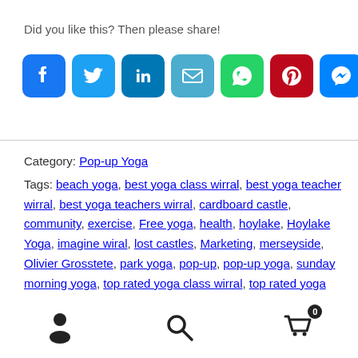Did you like this? Then please share!
[Figure (infographic): Social share buttons: Facebook, Twitter, LinkedIn, Email, WhatsApp, Pinterest, Messenger, More]
Category: Pop-up Yoga
Tags: beach yoga, best yoga class wirral, best yoga teacher wirral, best yoga teachers wirral, cardboard castle, community, exercise, Free yoga, health, hoylake, Hoylake Yoga, imagine wiral, lost castles, Marketing, merseyside, Olivier Grosstete, park yoga, pop-up, pop-up yoga, sunday morning yoga, top rated yoga class wirral, top rated yoga teacher wirral, west kirby, West Kirby Yoga, wirral council, Yoga, Yoga Teachers
User | Search | Cart (0)